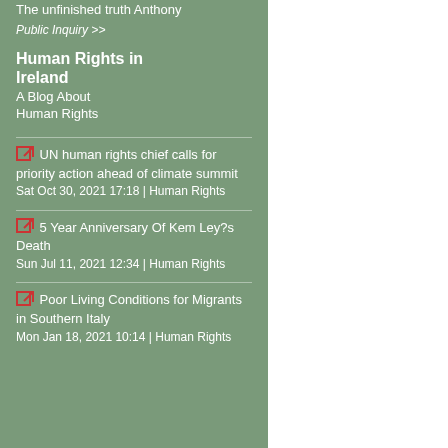The unfinished truth Anthony
Public Inquiry >>
Human Rights in Ireland
A Blog About Human Rights
UN human rights chief calls for priority action ahead of climate summit Sat Oct 30, 2021 17:18 | Human Rights
5 Year Anniversary Of Kem Ley?s Death Sun Jul 11, 2021 12:34 | Human Rights
Poor Living Conditions for Migrants in Southern Italy Mon Jan 18, 2021 10:14 | Human Rights